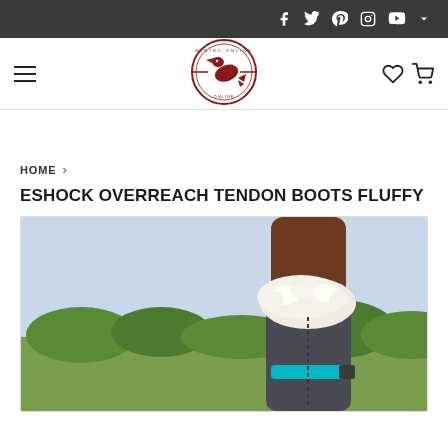Social icons: Facebook, Twitter, Pinterest, Instagram, YouTube
[Figure (logo): Circular horse/eagle emblem logo in dark red with horizontal lines on sides]
HOME › ESHOCK OVERREACH TENDON BOOTS FLUFFY
ESHOCK OVERREACH TENDON BOOTS FLUFFY
[Figure (photo): Close-up photo of a horse leg wearing an eShock overreach tendon boot with fluffy white sheepskin lining and dark grey boot body with teal strap, outdoor green field background]